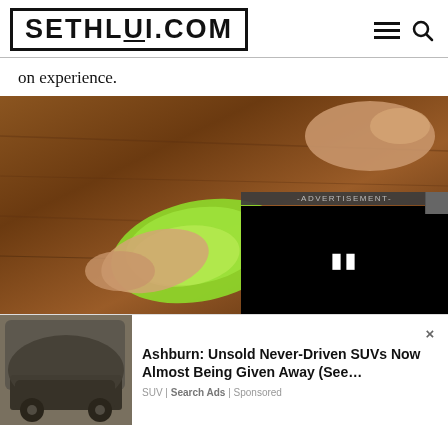[Figure (logo): SETHLUI.COM logo in bold uppercase letters inside a rectangular border, with hamburger menu and search icons on the right]
on experience.
[Figure (photo): Person wiping a wooden surface with a green cloth/sponge, with an advertisement video overlay showing a pause button and -ADVERTISEMENT- label]
[Figure (infographic): Promotional banner ad showing a dirty Land Rover SUV with text: Ashburn: Unsold Never-Driven SUVs Now Almost Being Given Away (See... — SUV | Search Ads | Sponsored]